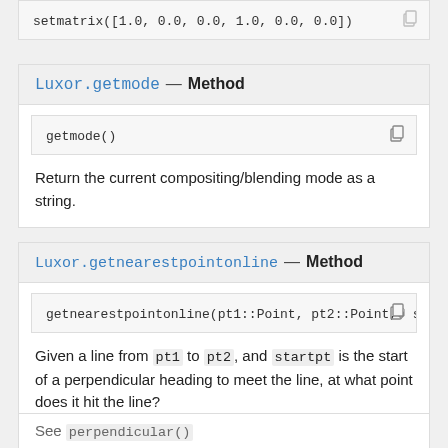setmatrix([1.0, 0.0, 0.0, 1.0, 0.0, 0.0])
Luxor.getmode — Method
getmode()
Return the current compositing/blending mode as a string.
Luxor.getnearestpointonline — Method
getnearestpointonline(pt1::Point, pt2::Point, s
Given a line from pt1 to pt2, and startpt is the start of a perpendicular heading to meet the line, at what point does it hit the line?
See perpendicular()